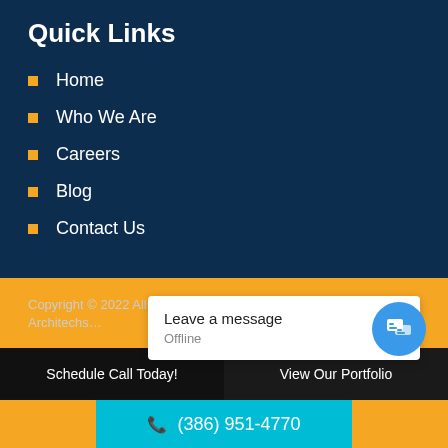Quick Links
Home
Who We Are
Careers
Blog
Contact Us
Copyright © 2022 All Rights Reserved Web Design & SEO. Architechs...
[Figure (screenshot): Chat widget popup showing 'Leave a message' and 'Offline' status with blue chat bubble button]
Schedule Call Today!
View Our Portfolio
(386) 951-4770